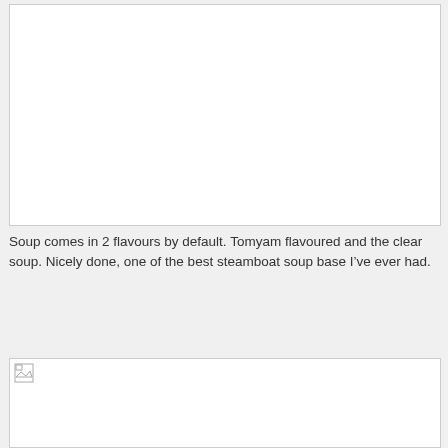[Figure (photo): Blank white image placeholder (top), image not loaded]
Soup comes in 2 flavours by default. Tomyam flavoured and the clear soup. Nicely done, one of the best steamboat soup base I’ve ever had.
[Figure (photo): Partially loaded image with broken image icon (bottom)]